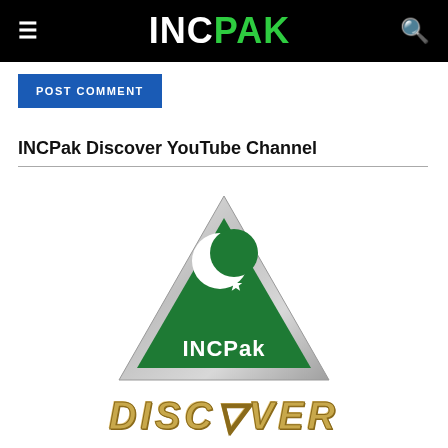INCPak
POST COMMENT
INCPak Discover YouTube Channel
[Figure (logo): INCPak logo: a silver-bordered green triangle with a white crescent moon and star, and the text 'INCPak' below inside the triangle, followed by 'DISCOVER' in gold italic letters and a red-bordered 'SUBSCRIBE' button at the bottom.]